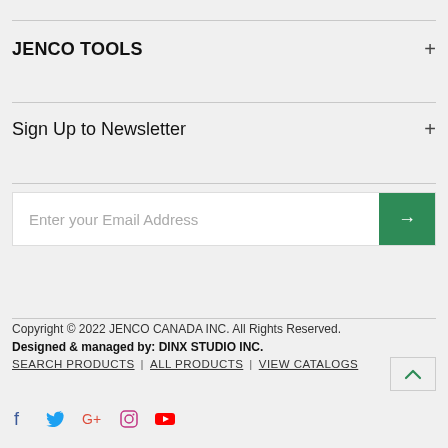JENCO TOOLS
Sign Up to Newsletter
Enter your Email Address
Copyright © 2022 JENCO CANADA INC. All Rights Reserved.
Designed & managed by: DINX STUDIO INC.
SEARCH PRODUCTS | ALL PRODUCTS | VIEW CATALOGS